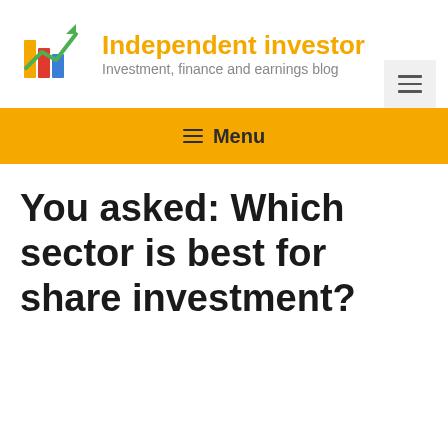[Figure (logo): Bar chart logo with colorful bars (green, orange, red, blue) and a green upward arrow, representing Independent Investor blog]
Independent investor
Investment, finance and earnings blog
[Figure (other): Hamburger menu icon in a light grey box]
☰ Menu
You asked: Which sector is best for share investment?